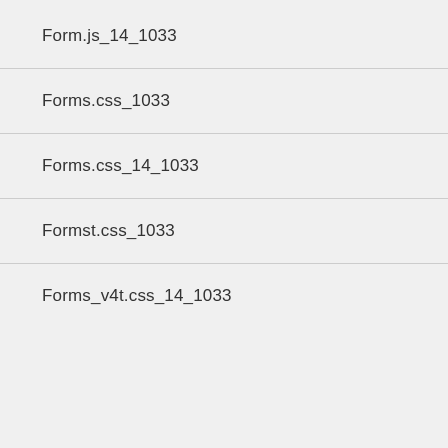Form.js_14_1033
Forms.css_1033
Forms.css_14_1033
Formst.css_1033
Forms_v4t.css_14_1033